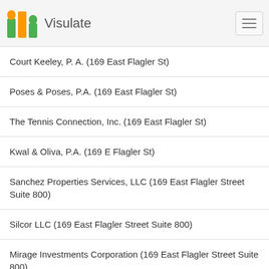Visulate
Court Keeley, P. A. (169 East Flagler St)
Poses & Poses, P.A. (169 East Flagler St)
The Tennis Connection, Inc. (169 East Flagler St)
Kwal & Oliva, P.A. (169 E Flagler St)
Sanchez Properties Services, LLC (169 East Flagler Street Suite 800)
Silcor LLC (169 East Flagler Street Suite 800)
Mirage Investments Corporation (169 East Flagler Street Suite 800)
Law Offices Of Luis A. Perez, P.A. (169 E Flagler St)
Lutoni, LLC (169 East Flagler St)